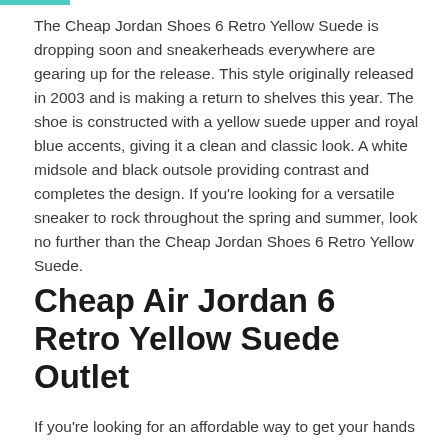The Cheap Jordan Shoes 6 Retro Yellow Suede is dropping soon and sneakerheads everywhere are gearing up for the release. This style originally released in 2003 and is making a return to shelves this year. The shoe is constructed with a yellow suede upper and royal blue accents, giving it a clean and classic look. A white midsole and black outsole providing contrast and completes the design. If you're looking for a versatile sneaker to rock throughout the spring and summer, look no further than the Cheap Jordan Shoes 6 Retro Yellow Suede.
Cheap Air Jordan 6 Retro Yellow Suede Outlet
If you're looking for an affordable way to get your hands